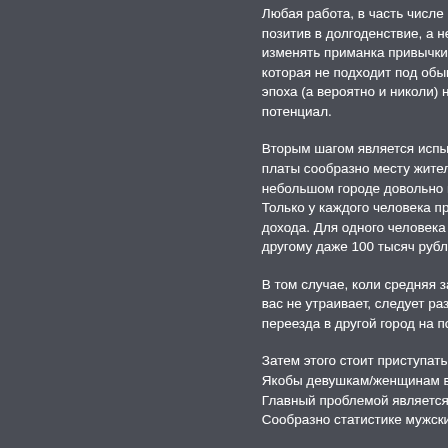Любая работа, в часть числе в... позитив в долгоденствие, а не с... изменять приманка привычки и... которая не подходит под обыкн... эпоха (а вероятно и николи) не ... потенциал.
Вторым шагом является испыта... платы сообразно месту жительс... небольшом городе довольно ме... Только у каждого человека при... дохода. Для одного человека 40... другому даже 100 тысяч рублей
В том случае, коли средняя зар... вас не утраивает, следует разби... переезда в другой город на пос...
Затем этого стоит приступать к... Якобы девушкам/женщинам вст... Главный проблемой является п... Сообразно статистике мужские